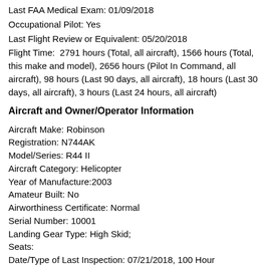Last FAA Medical Exam: 01/09/2018
Occupational Pilot: Yes
Last Flight Review or Equivalent: 05/20/2018
Flight Time:  2791 hours (Total, all aircraft), 1566 hours (Total, this make and model), 2656 hours (Pilot In Command, all aircraft), 98 hours (Last 90 days, all aircraft), 18 hours (Last 30 days, all aircraft), 3 hours (Last 24 hours, all aircraft)
Aircraft and Owner/Operator Information
Aircraft Make: Robinson
Registration: N744AK
Model/Series: R44 II
Aircraft Category: Helicopter
Year of Manufacture:2003
Amateur Built: No
Airworthiness Certificate: Normal
Serial Number: 10001
Landing Gear Type: High Skid;
Seats:
Date/Type of Last Inspection: 07/21/2018, 100 Hour
Certified Max Gross Wt.: 2500 lbs
Time Since Last Inspection: